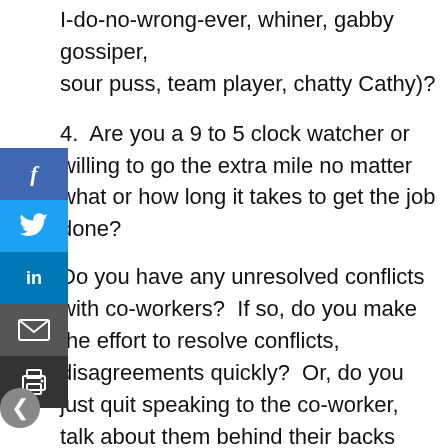I-do-no-wrong-ever, whiner, gabby gossiper, sour puss, team player, chatty Cathy)?
4.  Are you a 9 to 5 clock watcher or willing to go the extra mile no matter what or how long it takes to get the job done?
Do you have any unresolved conflicts with co-workers?  If so, do you make the effort to resolve conflicts, disagreements quickly?  Or, do you just quit speaking to the co-worker, talk about them behind their backs and/or refuse to face the real issues?
6.  Do you share a good (and appropriate) sense of humor at work?
[Figure (infographic): Social media sharing sidebar with Facebook, Twitter, LinkedIn, email, and print buttons, plus a back arrow navigation button]